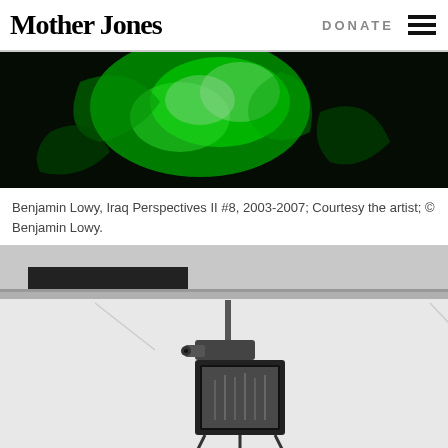Mother Jones   DONATE
[Figure (photo): Green-tinted night vision style photograph showing abstract shapes and forms against a dark background]
Benjamin Lowy, Iraq Perspectives II #8, 2003-2007; Courtesy the artist; © Benjamin Lowy.
[Figure (photo): Black and white photograph showing a security camera mounted near a ceiling next to a small monitor/screen displaying footage]